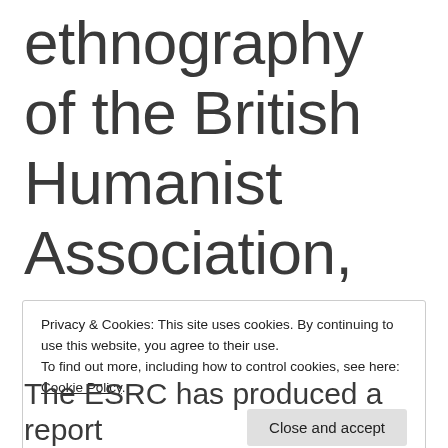ethnography of the British Humanist Association, Dr Matthew
Privacy & Cookies: This site uses cookies. By continuing to use this website, you agree to their use.
To find out more, including how to control cookies, see here: Cookie Policy.
The ESRC has produced a report